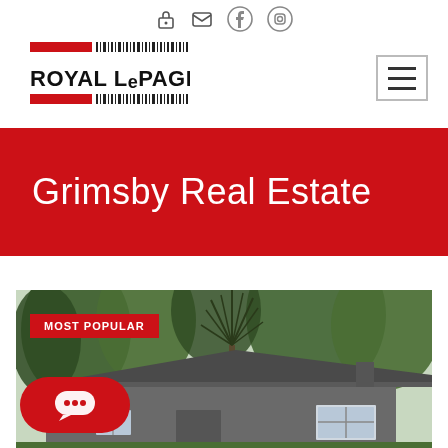Royal LePage — icon navigation bar (login, mail, facebook, instagram)
[Figure (logo): Royal LePage logo with red bars and barcode-style stripes, black bold text ROYAL LePAGE]
[Figure (other): Hamburger menu button — three horizontal lines in a square border]
Grimsby Real Estate
[Figure (photo): Photograph of a grey house exterior with large trees in background, showing roof and front window. Overlaid with a red MOST POPULAR badge and a red chat bubble button at bottom left.]